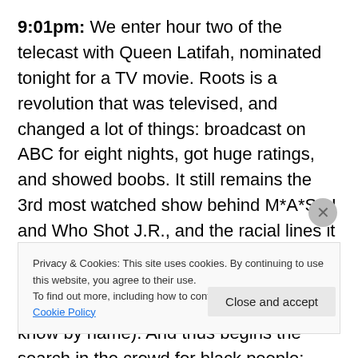9:01pm: We enter hour two of the telecast with Queen Latifah, nominated tonight for a TV movie. Roots is a revolution that was televised, and changed a lot of things: broadcast on ABC for eight nights, got huge ratings, and showed boobs. It still remains the 3rd most watched show behind M*A*S*H and Who Shot J.R., and the racial lines it crossed remain crossed to this day. And when we get the cast of roots, including Levar Burton and Ed Asner (The two I know by name). And thus begins the search in the crowd for black people: they only found Pickens Jr. from
Privacy & Cookies: This site uses cookies. By continuing to use this website, you agree to their use.
To find out more, including how to control cookies, see here: Cookie Policy
Close and accept